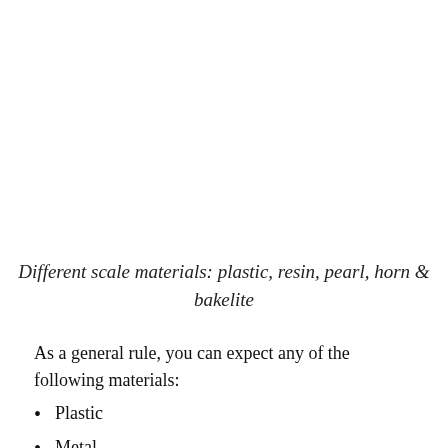Different scale materials: plastic, resin, pearl, horn & bakelite
As a general rule, you can expect any of the following materials:
Plastic
Metal